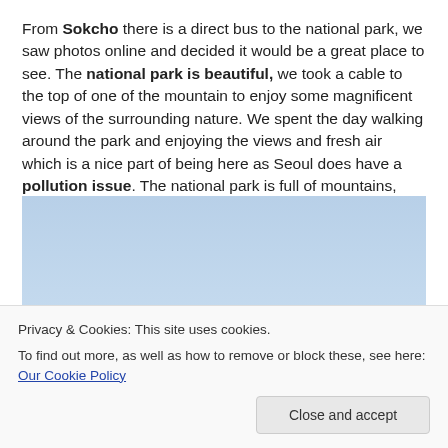From Sokcho there is a direct bus to the national park, we saw photos online and decided it would be a great place to see. The national park is beautiful, we took a cable to the top of one of the mountain to enjoy some magnificent views of the surrounding nature. We spent the day walking around the park and enjoying the views and fresh air which is a nice part of being here as Seoul does have a pollution issue. The national park is full of mountains, waterfalls, temples and walking trails.
[Figure (photo): Panoramic mountain landscape view with hazy blue sky, rocky foreground slopes, distant mountains and a city in the valley below with a small tree visible on the right]
Privacy & Cookies: This site uses cookies.
To find out more, as well as how to remove or block these, see here: Our Cookie Policy